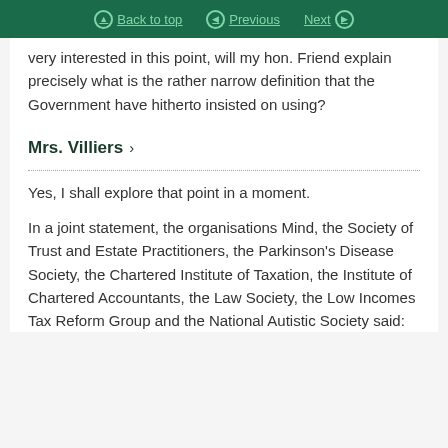Back to top  Previous  Next
very interested in this point, will my hon. Friend explain precisely what is the rather narrow definition that the Government have hitherto insisted on using?
Mrs. Villiers >
Yes, I shall explore that point in a moment.
In a joint statement, the organisations Mind, the Society of Trust and Estate Practitioners, the Parkinson’s Disease Society, the Chartered Institute of Taxation, the Institute of Chartered Accountants, the Law Society, the Low Incomes Tax Reform Group and the National Autistic Society said: